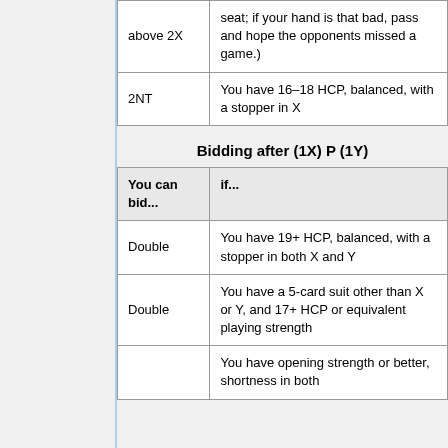| You can bid... | if... |
| --- | --- |
| above 2X | seat; if your hand is that bad, pass and hope the opponents missed a game.) |
| 2NT | You have 16–18 HCP, balanced, with a stopper in X |
Bidding after (1X) P (1Y)
| You can bid... | if... |
| --- | --- |
| Double | You have 19+ HCP, balanced, with a stopper in both X and Y |
| Double | You have a 5-card suit other than X or Y, and 17+ HCP or equivalent playing strength |
|  | You have opening strength or better, shortness in both |